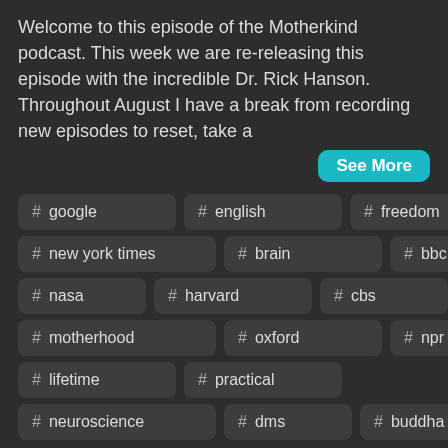Welcome to this episode of the Motherkind podcast. This week we are re-releasing this episode with the incredible Dr. Rick Hanson. Throughout August I have a break from recording new episodes to reset, take a
See More
# google
# english
# freedom
# new york times
# brain
# bbc
# nasa
# harvard
# cbs
# motherhood
# oxford
# npr
# lifetime
# practical
# neuroscience
# dms
# buddha